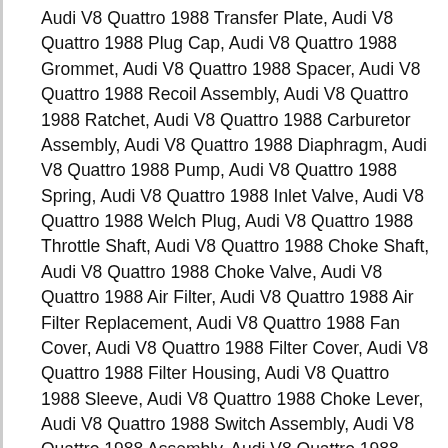Audi V8 Quattro 1988 Transfer Plate, Audi V8 Quattro 1988 Plug Cap, Audi V8 Quattro 1988 Grommet, Audi V8 Quattro 1988 Spacer, Audi V8 Quattro 1988 Recoil Assembly, Audi V8 Quattro 1988 Ratchet, Audi V8 Quattro 1988 Carburetor Assembly, Audi V8 Quattro 1988 Diaphragm, Audi V8 Quattro 1988 Pump, Audi V8 Quattro 1988 Spring, Audi V8 Quattro 1988 Inlet Valve, Audi V8 Quattro 1988 Welch Plug, Audi V8 Quattro 1988 Throttle Shaft, Audi V8 Quattro 1988 Choke Shaft, Audi V8 Quattro 1988 Choke Valve, Audi V8 Quattro 1988 Air Filter, Audi V8 Quattro 1988 Air Filter Replacement, Audi V8 Quattro 1988 Fan Cover, Audi V8 Quattro 1988 Filter Cover, Audi V8 Quattro 1988 Filter Housing, Audi V8 Quattro 1988 Sleeve, Audi V8 Quattro 1988 Choke Lever, Audi V8 Quattro 1988 Switch Assembly, Audi V8 Quattro 1988 Assembly, Audi V8 Quattro 1988 Recoil Starter, Audi V8 Quattro 1988 Starter Replacement, Audi V8 Quattro 1988 Battery,